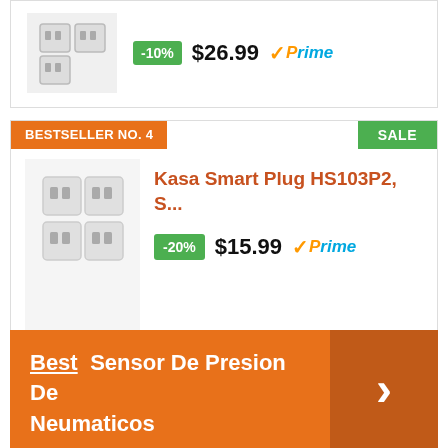[Figure (other): Partial product card showing smart plug image with -10% discount badge, $26.99 price and Prime logo]
[Figure (other): Bestseller No. 4 product card with SALE badge, Kasa Smart Plug HS103P2 image, title in orange, -20% discount badge, $15.99 price and Prime logo]
If there are no available offers right now, bookmark this page and come back in a couple of days. Price and availability change quickly.
[Figure (other): Orange banner with 'Best Sensor De Presion De Neumaticos' text and right arrow chevron button]